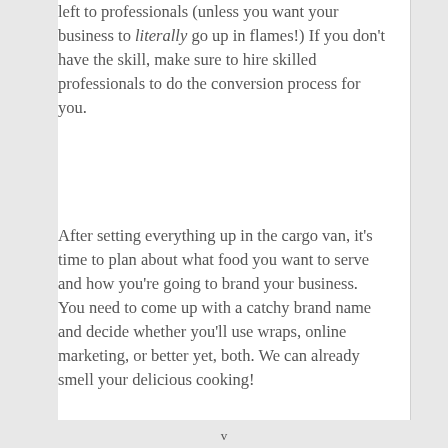left to professionals (unless you want your business to literally go up in flames!) If you don't have the skill, make sure to hire skilled professionals to do the conversion process for you.
After setting everything up in the cargo van, it's time to plan about what food you want to serve and how you're going to brand your business. You need to come up with a catchy brand name and decide whether you'll use wraps, online marketing, or better yet, both. We can already smell your delicious cooking!
v